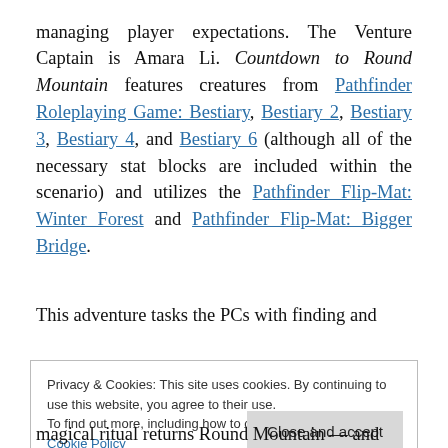managing player expectations. The Venture Captain is Amara Li. Countdown to Round Mountain features creatures from Pathfinder Roleplaying Game: Bestiary, Bestiary 2, Bestiary 3, Bestiary 4, and Bestiary 6 (although all of the necessary stat blocks are included within the scenario) and utilizes the Pathfinder Flip-Mat: Winter Forest and Pathfinder Flip-Mat: Bigger Bridge.
This adventure tasks the PCs with finding and
Privacy & Cookies: This site uses cookies. By continuing to use this website, you agree to their use.
To find out more, including how to control cookies, see here:
Cookie Policy
magical ritual returns Round Mountain — and